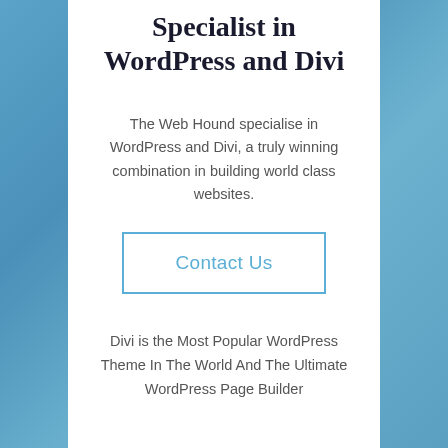Specialist in WordPress and Divi
The Web Hound specialise in WordPress and Divi, a truly winning combination in building world class websites.
Contact Us
Divi is the Most Popular WordPress Theme In The World And The Ultimate WordPress Page Builder